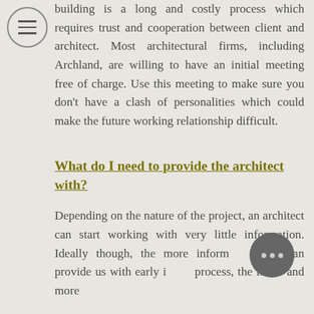building is a long and costly process which requires trust and cooperation between client and architect. Most architectural firms, including Archland, are willing to have an initial meeting free of charge. Use this meeting to make sure you don't have a clash of personalities which could make the future working relationship difficult.
What do I need to provide the architect with?
Depending on the nature of the project, an architect can start working with very little information. Ideally though, the more information you can provide us with early in the process, the faster and more